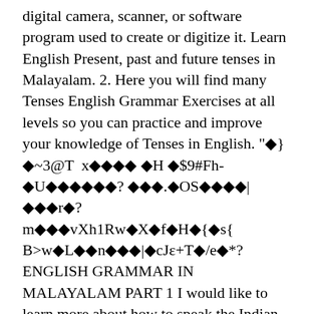digital camera, scanner, or software program used to create or digitize it. Learn English Present, past and future tenses in Malayalam. 2. Here you will find many Tenses English Grammar Exercises at all levels so you can practice and improve your knowledge of Tenses in English. "◆}◆~3@T  x◆◆◆◆ ◆H ◆$9#Fh-◆U◆◆◆◆◆◆? ◆◆◆.◆OS◆◆◆◆|◆◆◆r◆? m◆◆◆vXh1Rw◆X◆f◆H◆{◆s{ B>w◆L◆◆n◆◆◆|◆cJε+T◆/e◆*? ENGLISH GRAMMAR IN MALAYALAM PART 1 I would like to learn more about how to speak the Indian English - their accentuation.ï»¿. English Grammar Tenses Part 5 Simple Present Tense(in   English Grammar Tenses Part 5